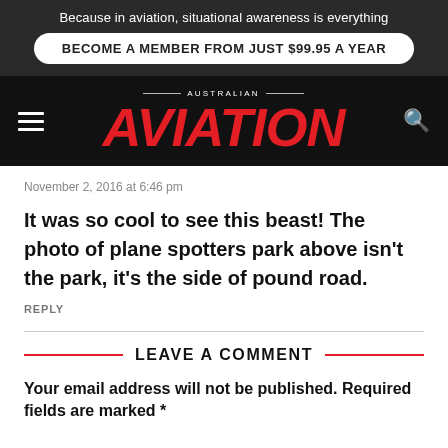Because in aviation, situational awareness is everything
BECOME A MEMBER FROM JUST $99.95 A YEAR
AUSTRALIAN AVIATION
November 2, 2016 at 6:46 pm
It was so cool to see this beast! The photo of plane spotters park above isn't the park, it's the side of pound road.
REPLY
LEAVE A COMMENT
Your email address will not be published. Required fields are marked *